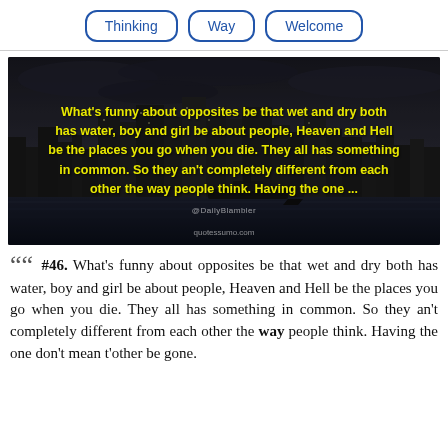Thinking
Way
Welcome
[Figure (photo): Dark cityscape/skyline background image with yellow bold text overlay: "What's funny about opposites be that wet and dry both has water, boy and girl be about people, Heaven and Hell be the places you go when you die. They all has something in common. So they an't completely different from each other the way people think. Having the one ..." with watermark text at bottom.]
" #46. What's funny about opposites be that wet and dry both has water, boy and girl be about people, Heaven and Hell be the places you go when you die. They all has something in common. So they an't completely different from each other the way people think. Having the one don't mean t'other be gone.